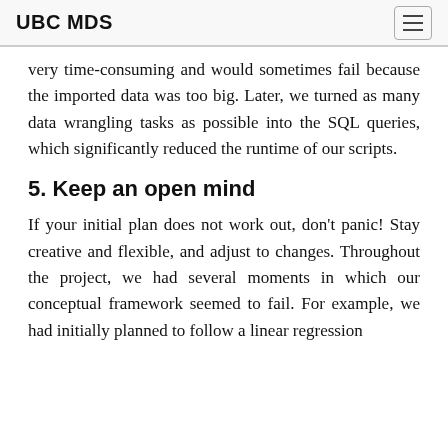UBC MDS
very time-consuming and would sometimes fail because the imported data was too big. Later, we turned as many data wrangling tasks as possible into the SQL queries, which significantly reduced the runtime of our scripts.
5. Keep an open mind
If your initial plan does not work out, don't panic! Stay creative and flexible, and adjust to changes. Throughout the project, we had several moments in which our conceptual framework seemed to fail. For example, we had initially planned to follow a linear regression